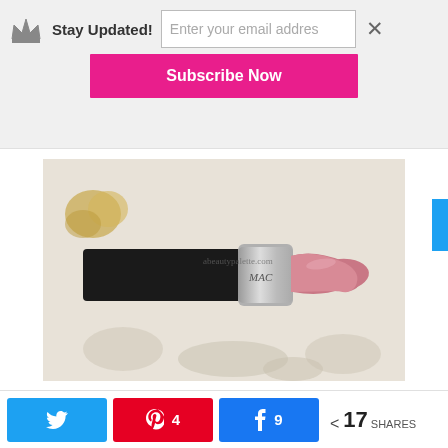Stay Updated! [email input: Enter your email addres] [Subscribe Now] [×]
[Figure (photo): MAC lipstick tube with pink creme shade extended, lying on a decorative damask-patterned surface with gold jewelry in background. Watermark reads abeautypalette.com]
Mac Amplified Creme Lipstick Chatterbox Review
Coming onto the shade, it is a light baby pink which
Twitter share | Pinterest 4 | Facebook 9 | < 17 SHARES